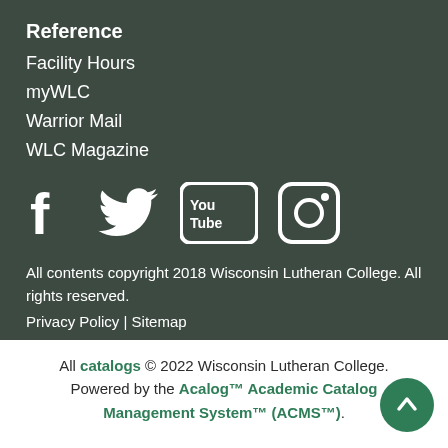Reference
Facility Hours
myWLC
Warrior Mail
WLC Magazine
[Figure (illustration): Social media icons: Facebook, Twitter, YouTube, Instagram]
All contents copyright 2018 Wisconsin Lutheran College. All rights reserved.
Privacy Policy | Sitemap
All catalogs © 2022 Wisconsin Lutheran College. Powered by the Acalog™ Academic Catalog Management System™ (ACMS™).